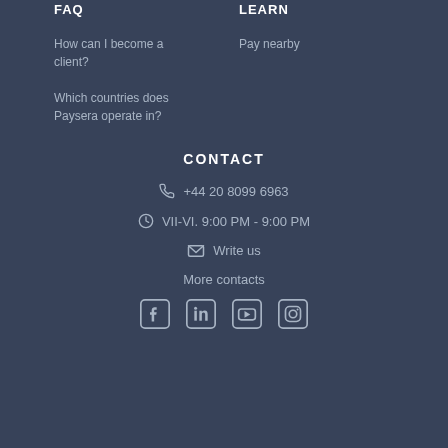FAQ
How can I become a client?
Which countries does Paysera operate in?
LEARN
Pay nearby
CONTACT
+44 20 8099 6963
VII-VI. 9:00 PM - 9:00 PM
Write us
More contacts
[Figure (other): Social media icons: Facebook, LinkedIn, YouTube, Instagram]